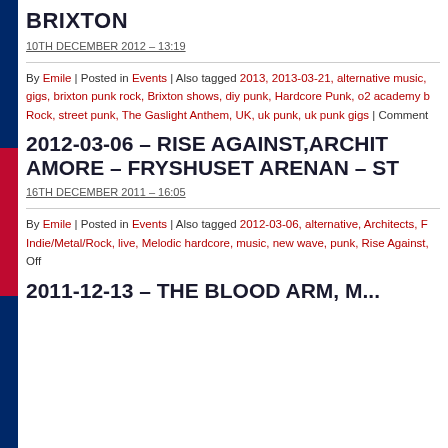BRIXTON
10TH DECEMBER 2012 – 13:19
By Emile | Posted in Events | Also tagged 2013, 2013-03-21, alternative music, gigs, brixton punk rock, Brixton shows, diy punk, Hardcore Punk, o2 academy b Rock, street punk, The Gaslight Anthem, UK, uk punk, uk punk gigs | Comment
2012-03-06 – RISE AGAINST,ARCHIT AMORE – FRYSHUSET ARENAN – ST
16TH DECEMBER 2011 – 16:05
By Emile | Posted in Events | Also tagged 2012-03-06, alternative, Architects, F Indie/Metal/Rock, live, Melodic hardcore, music, new wave, punk, Rise Against, Off